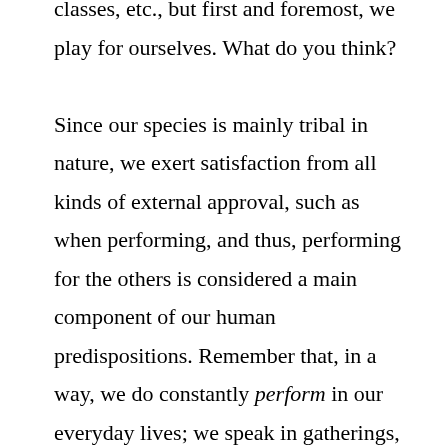classes, etc., but first and foremost, we play for ourselves. What do you think?

Since our species is mainly tribal in nature, we exert satisfaction from all kinds of external approval, such as when performing, and thus, performing for the others is considered a main component of our human predispositions. Remember that, in a way, we do constantly perform in our everyday lives; we speak in gatherings, we care of how we look, we carefully utter our thoughts, and so